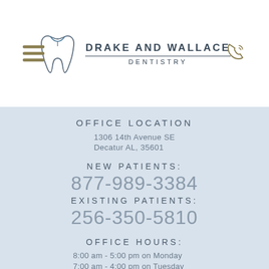[Figure (logo): Drake and Wallace Dentistry logo with tooth icon, hamburger menu icon on left, phone icon on right]
OFFICE LOCATION
1306 14th Avenue SE
Decatur AL, 35601
NEW PATIENTS:
877-989-3384
EXISTING PATIENTS:
256-350-5810
OFFICE HOURS:
8:00 am - 5:00 pm on Monday
7:00 am - 4:00 pm on Tuesday
7:00 am - 4:00 pm on Wednesday